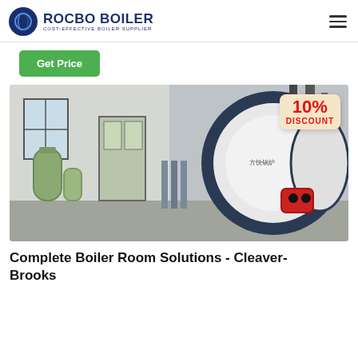ROCBO BOILER - COST-EFFECTIVE BOILER SUPPLIER
Get Price
[Figure (photo): Industrial boiler room with a large cylindrical boiler unit (white and dark blue), water treatment tanks on the left, piping systems, and a '10% DISCOUNT' badge overlaid on the image.]
Complete Boiler Room Solutions - Cleaver-Brooks